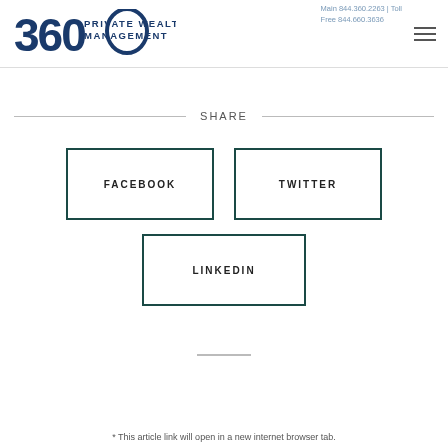360 Private Wealth Management | Main 844.360.2263 | Toll Free 844.660.3636
SHARE
FACEBOOK
TWITTER
LINKEDIN
* This article link will open in a new internet browser tab.